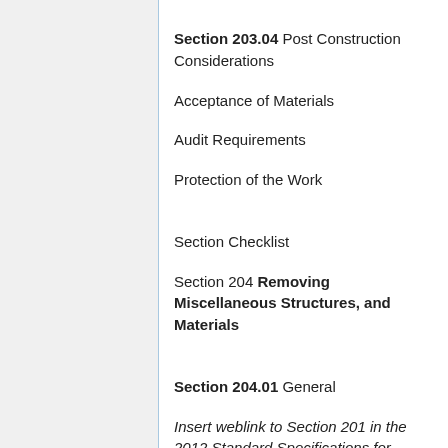Section 203.04 Post Construction Considerations
Acceptance of Materials
Audit Requirements
Protection of the Work
Section Checklist
Section 204 Removing Miscellaneous Structures, and Materials
Section 204.01 General
Insert weblink to Section 201 in the 2012 Standard Specifications for Construction
Brief Description